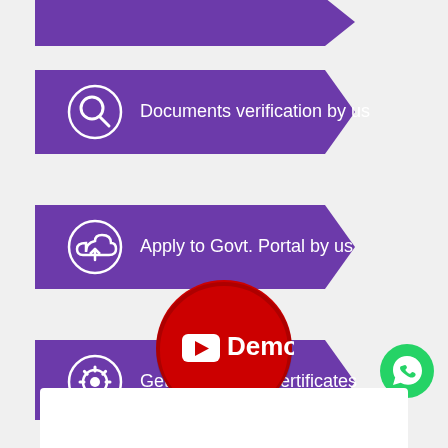[Figure (flowchart): Three purple arrow-shaped banner steps showing a process flow: 1) Documents verification by us (with magnifying glass icon), 2) Apply to Govt. Portal by us (with upload cloud icon), 3) Get Provisional Certificates (with gear/badge icon)]
[Figure (illustration): A red circular button with a YouTube icon and the text 'Demo' in white, positioned at the bottom center]
[Figure (illustration): A green circular WhatsApp chat button in the bottom right corner]